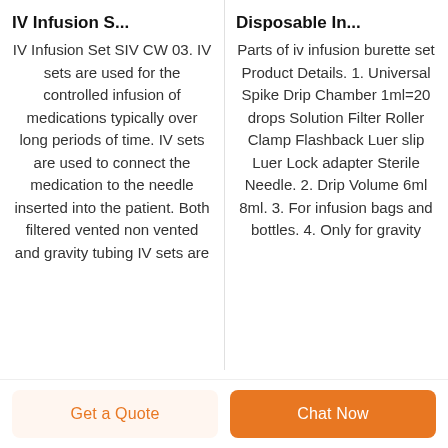IV Infusion S...
Disposable In...
IV Infusion Set SIV CW 03. IV sets are used for the controlled infusion of medications typically over long periods of time. IV sets are used to connect the medication to the needle inserted into the patient. Both filtered vented non vented and gravity tubing IV sets are
Parts of iv infusion burette set Product Details. 1. Universal Spike Drip Chamber 1ml=20 drops Solution Filter Roller Clamp Flashback Luer slip Luer Lock adapter Sterile Needle. 2. Drip Volume 6ml 8ml. 3. For infusion bags and bottles. 4. Only for gravity
Get a Quote
Chat Now